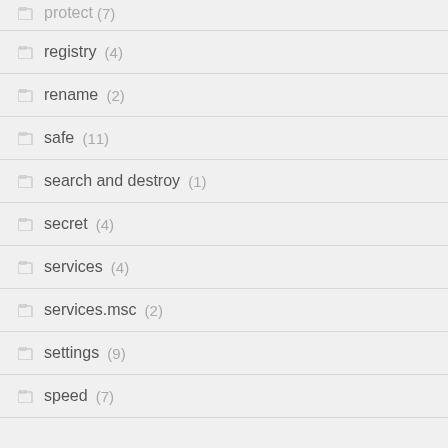protect (7)
registry (4)
rename (2)
safe (11)
search and destroy (1)
secret (4)
services (4)
services.msc (2)
settings (9)
speed (7)